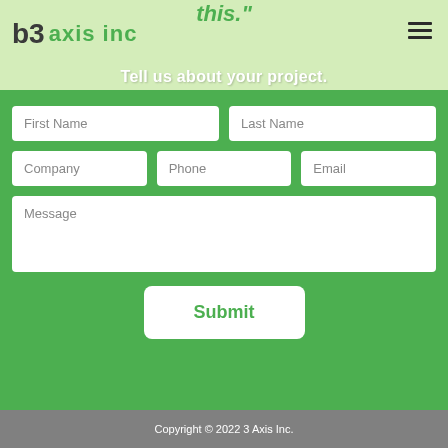this."
b3 axis inc
Tell us about your project.
First Name
Last Name
Company
Phone
Email
Message
Submit
Copyright © 2022 3 Axis Inc.